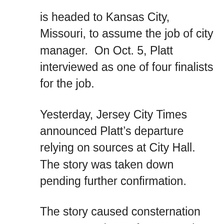is headed to Kansas City, Missouri, to assume the job of city manager.  On Oct. 5, Platt interviewed as one of four finalists for the job.
Yesterday, Jersey City Times announced Platt’s departure relying on sources at City Hall. The story was taken down pending further confirmation.
The story caused consternation among members of Kansas City’s city council, whose members had not signed off on an offer to Platt. Councilwoman Heather Hall told Jersey City Times that at least four members were on the fence regarding Platt after the unexpected